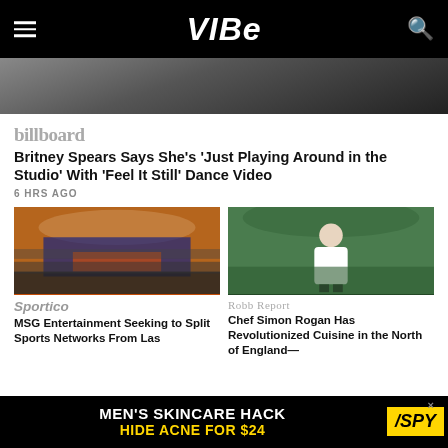VIBE
[Figure (photo): Partial hero image showing a person, cropped]
billboard
Britney Spears Says She’s ‘Just Playing Around in the Studio’ With ‘Feel It Still’ Dance Video
6 HRS AGO
[Figure (photo): Interior of Madison Square Garden arena packed with fans, basketball court visible]
Sportico
MSG Entertainment Seeking to Split Sports Networks From Las
[Figure (photo): Man in white shirt walking through green vegetation outdoors]
Robb Report
Chef Simon Rogan Has Revolutionized Cuisine in the North of England—
MEN’S SKINCARE HACK HIDE ACNE FOR $24 SPY